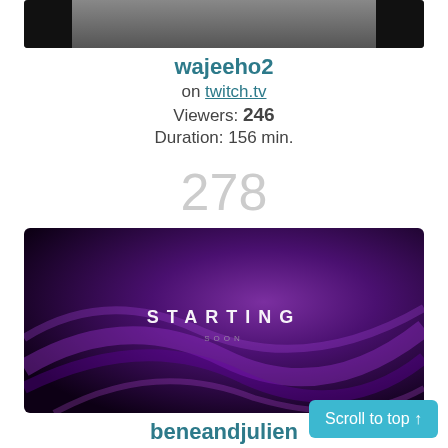[Figure (screenshot): Partial thumbnail image of wajeeho2 stream, dark/gray tones, top of image cropped]
wajeeho2
on twitch.tv
Viewers: 246
Duration: 156 min.
278
[Figure (screenshot): Thumbnail of beneandjulien stream showing a purple abstract background with text STARTING in the center]
beneandjulien
on twitch.tv
Viewers: 245
Scroll to top ↑